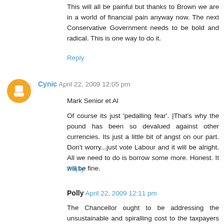This will all be painful but thanks to Brown we are in a world of financial pain anyway now. The next Conservative Government needs to be bold and radical. This is one way to do it.
Reply
Cynic  April 22, 2009 12:05 pm
Mark Senior et Al
Of course its just 'pedalling fear'. |That's why the pound has been so devalued against other currencies. Its just a little bit of angst on our part. Don't worry...just vote Labour and it will be alright. All we need to do is borrow some more. Honest. It will be fine.
Reply
Polly  April 22, 2009 12:11 pm
The Chancellor ought to be addressing the unsustainable and spiralling cost to the taxpayers of the public sector